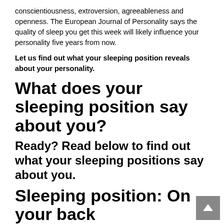conscientiousness, extroversion, agreeableness and openness. The European Journal of Personality says the quality of sleep you get this week will likely influence your personality five years from now.
Let us find out what your sleeping position reveals about your personality.
What does your sleeping position say about you?
Ready? Read below to find out what your sleeping positions say about you.
Sleeping position: On your back